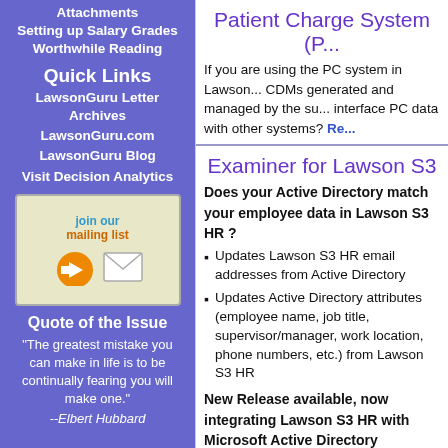Attachments
Setting up Salary Grades
Worthwhile Reading
Quick Links
LawsonGuru Letter Archives
LawsonGuru.com
LawsonGuru Blog
Visit Decision Analytics
[Figure (illustration): Join our mailing list button with orange arrow and envelope icon]
Quote of the Issue
"The greatest mistake you can make in life is to be continually fearing you will make one." --Elbert Hubbard
Patient Charge System (P...
If you are using the PC system in Lawson... CDMs generated and managed by the su... interface PC data with other systems? Re...
Examiner for Lawson S3
Does your Active Directory match your employee data in Lawson S3 HR ?
Updates Lawson S3 HR email addresses from Active Directory
Updates Active Directory attributes (employee name, job title, supervisor/manager, work location, phone numbers, etc.) from Lawson S3 HR
New Release available, now integrating Lawson S3 HR with Microsoft Active Directory
Read More...
Talent Acquisition Rankin...
Does anyone know if Talent Acquisition ca... to a requisition based on their answers to...